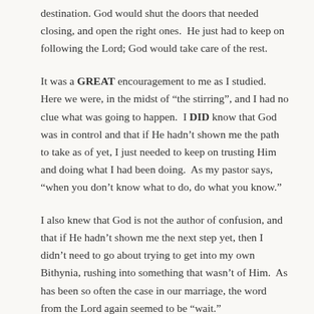destination. God would shut the doors that needed closing, and open the right ones.  He just had to keep on following the Lord; God would take care of the rest.
It was a GREAT encouragement to me as I studied.  Here we were, in the midst of “the stirring”, and I had no clue what was going to happen.  I DID know that God was in control and that if He hadn’t shown me the path to take as of yet, I just needed to keep on trusting Him and doing what I had been doing.  As my pastor says, “when you don’t know what to do, do what you know.”
I also knew that God is not the author of confusion, and that if He hadn’t shown me the next step yet, then I didn’t need to go about trying to get into my own Bithynia, rushing into something that wasn’t of Him.  As has been so often the case in our marriage, the word from the Lord again seemed to be “wait.”